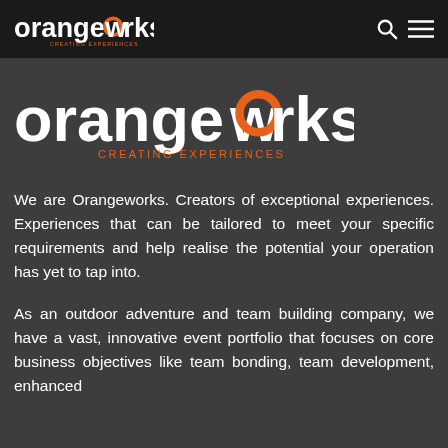orangeworks. CREATING EXPERIENCES
[Figure (logo): Orangeworks logo - large version with white text 'orangeworks.' and orange circle in the 'o', with 'CREATING EXPERIENCES' subtitle in orange]
We are Orangeworks. Creators of exceptional experiences. Experiences that can be tailored to meet your specific requirements and help realise the potential your operation has yet to tap into.
As an outdoor adventure and team building company, we have a vast, innovative event portfolio that focuses on core business objectives like team bonding, team development, enhanced